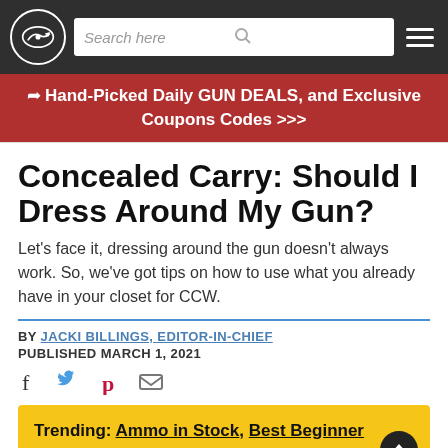Search here [navigation bar with logo and hamburger menu]
Hand-Picked Daily GUN DEALS, and Exclusive Coupons Codes >>>
Concealed Carry: Should I Dress Around My Gun?
Let's face it, dressing around the gun doesn't always work. So, we've got tips on how to use what you already have in your closet for CCW.
BY JACKI BILLINGS, EDITOR-IN-CHIEF
PUBLISHED MARCH 1, 2021
Trending: Ammo in Stock, Best Beginner Handguns, & Best AR-15s